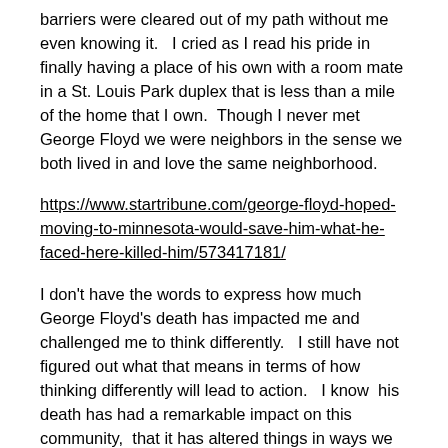barriers were cleared out of my path without me even knowing it.   I cried as I read his pride in finally having a place of his own with a room mate in a St. Louis Park duplex that is less than a mile of the home that I own.  Though I never met George Floyd we were neighbors in the sense we both lived in and love the same neighborhood.
https://www.startribune.com/george-floyd-hoped-moving-to-minnesota-would-save-him-what-he-faced-here-killed-him/573417181/
I don't have the words to express how much George Floyd's death has impacted me and challenged me to think differently.   I still have not figured out what that means in terms of how thinking differently will lead to action.   I know  his death has had a remarkable impact on this community,  that it has altered things in ways we can not go back.   And yet, the start of a long journey